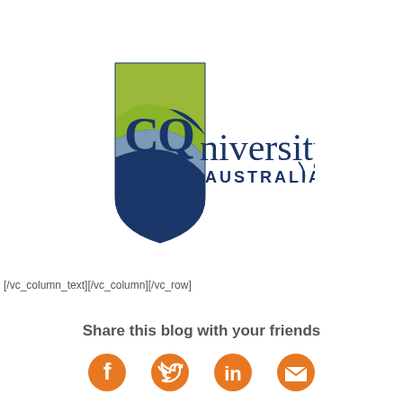[Figure (logo): CQUniversity Australia logo — shield shape with dark navy blue, lime green, and steel blue colors, with 'CQU' text in green on the shield and 'niversity AUSTRALIA' in navy blue to the right]
[/vc_column_text][/vc_column][/vc_row]
Share this blog with your friends
[Figure (infographic): Four orange social media icons in a row: Facebook, Twitter, LinkedIn, Email/envelope]